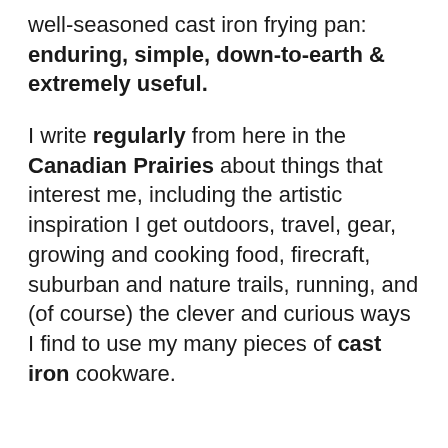well-seasoned cast iron frying pan: enduring, simple, down-to-earth & extremely useful.
I write regularly from here in the Canadian Prairies about things that interest me, including the artistic inspiration I get outdoors, travel, gear, growing and cooking food, firecraft, suburban and nature trails, running, and (of course) the clever and curious ways I find to use my many pieces of cast iron cookware.